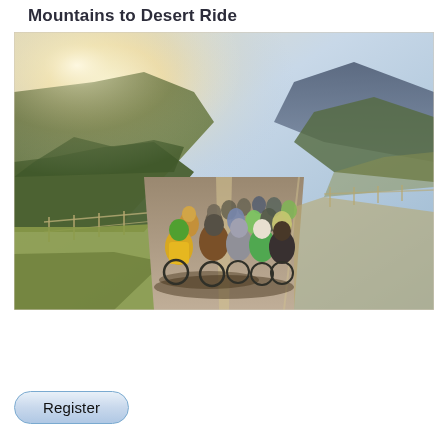Mountains to Desert Ride
[Figure (photo): A group of cyclists riding together down a rural highway, surrounded by mountains and trees on a sunny day with lens flare. One rider wears a bright yellow jacket. The road stretches into the distance with greenery on both sides.]
Register